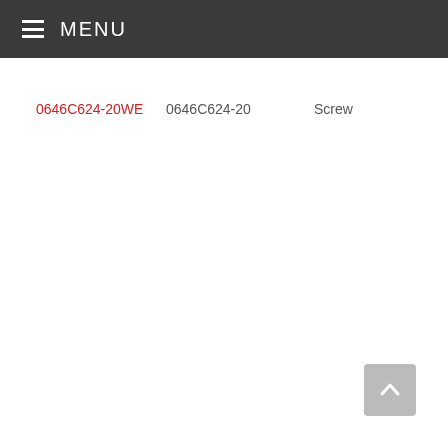MENU
0646C624-20WE   0646C624-20   Screw